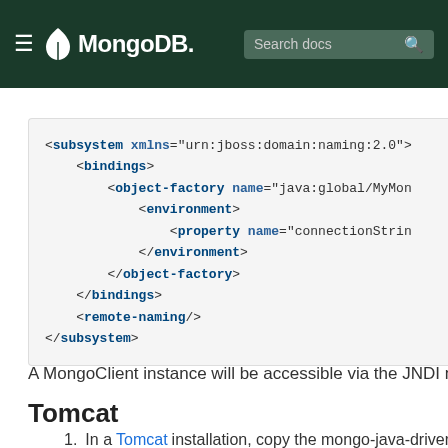MongoDB (navigation bar with search)
<subsystem xmlns="urn:jboss:domain:naming:2.0">
    <bindings>
        <object-factory name="java:global/MyMon
            <environment>
                <property name="connectionStrin
            </environment>
        </object-factory>
    </bindings>
    <remote-naming/>
</subsystem>
A MongoClient instance will be accessible via the JNDI nam
Tomcat
1. In a Tomcat installation, copy the mongo-java-driver ja
2. In context xml of a web application, add a resource th